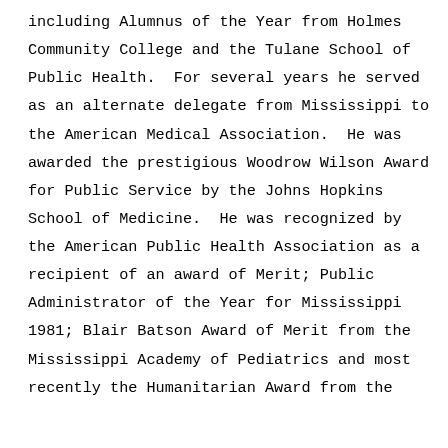including Alumnus of the Year from Holmes Community College and the Tulane School of Public Health.  For several years he served as an alternate delegate from Mississippi to the American Medical Association.  He was awarded the prestigious Woodrow Wilson Award for Public Service by the Johns Hopkins School of Medicine.  He was recognized by the American Public Health Association as a recipient of an award of Merit; Public Administrator of the Year for Mississippi 1981; Blair Batson Award of Merit from the Mississippi Academy of Pediatrics and most recently the Humanitarian Award from the